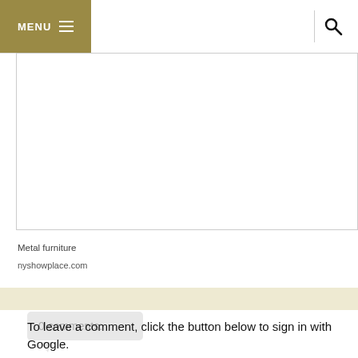MENU
[Figure (photo): Large empty white image box with border, representing a metal furniture photo placeholder]
Metal furniture
nyshowplace.com
0 comments:
To leave a comment, click the button below to sign in with Google.